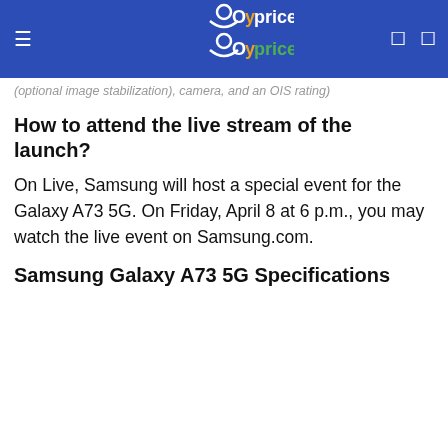Oyprice logo header with navigation icons
(optional image stabilization), camera, and an OIS rating)
How to attend the live stream of the launch?
On Live, Samsung will host a special event for the Galaxy A73 5G. On Friday, April 8 at 6 p.m., you may watch the live event on Samsung.com.
Samsung Galaxy A73 5G Specifications